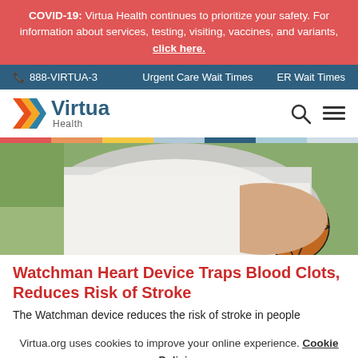COVID-19: Virtua Health continues to prioritize your safety. For information about services, testing, visiting, vaccines, and variants, click here.
888-VIRTUA-3   Urgent Care Wait Times   ER Wait Times
[Figure (logo): Virtua Health logo with orange/yellow/teal chevron icon and 'Virtua Health' text]
[Figure (photo): Close-up of a person in a white t-shirt holding a basketball outdoors]
Watchman Heart Device Traps Blood Clots, Reduces Risk of Stroke
The Watchman device reduces the risk of stroke in people
Virtua.org uses cookies to improve your online experience. Cookie Policies
Accept